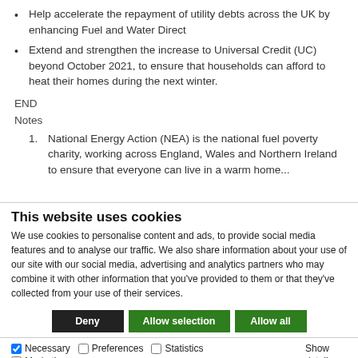Help accelerate the repayment of utility debts across the UK by enhancing Fuel and Water Direct
Extend and strengthen the increase to Universal Credit (UC) beyond October 2021, to ensure that households can afford to heat their homes during the next winter.
END
Notes
1. National Energy Action (NEA) is the national fuel poverty charity, working across England, Wales and Northern Ireland to ensure that everyone can live in a warm home...
This website uses cookies
We use cookies to personalise content and ads, to provide social media features and to analyse our traffic. We also share information about your use of our site with our social media, advertising and analytics partners who may combine it with other information that you've provided to them or that they've collected from your use of their services.
Deny | Allow selection | Allow all
Necessary  Preferences  Statistics  Marketing  Show details